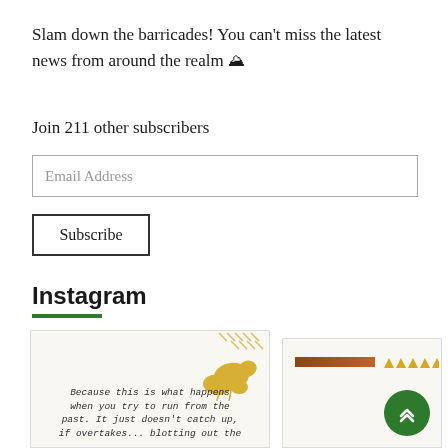Slam down the barricades! You can't miss the latest news from around the realm 🏔
Join 211 other subscribers
Email Address
Subscribe
Instagram
[Figure (screenshot): Instagram post card with ginkgo leaf decoration and italic text: Because this is what happens when you try to run from the past. It just doesn't catch up, if overtakes... blotting out the]
[Figure (screenshot): Partially visible Instagram post card with a brown horizontal bar and small yellow triangle decorations]
[Figure (other): Green circular scroll-to-top button with upward chevron arrows]